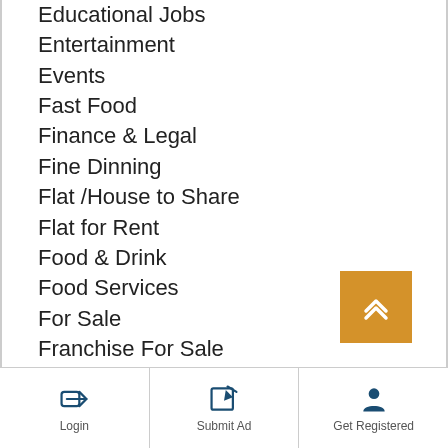Educational Jobs (partial, cut off at top)
Entertainment
Events
Fast Food
Finance & Legal
Fine Dinning
Flat /House to Share
Flat for Rent
Food & Drink
Food Services
For Sale
Franchise For Sale
Free Pets to Good Home
Free Stuff
Garage Sales
Goods Suppliers & Retailers
Handymen
Health & Beauty
Health & Beauty (partial)
Login | Submit Ad | Get Registered